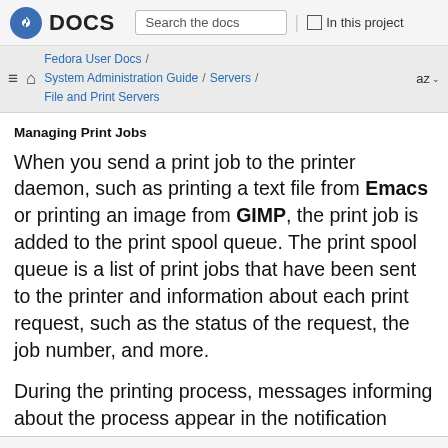DOCS | Search the docs | In this project
Fedora User Docs / System Administration Guide / Servers / File and Print Servers
Managing Print Jobs
When you send a print job to the printer daemon, such as printing a text file from Emacs or printing an image from GIMP, the print job is added to the print spool queue. The print spool queue is a list of print jobs that have been sent to the printer and information about each print request, such as the status of the request, the job number, and more.
During the printing process, messages informing about the process appear in the notification area.